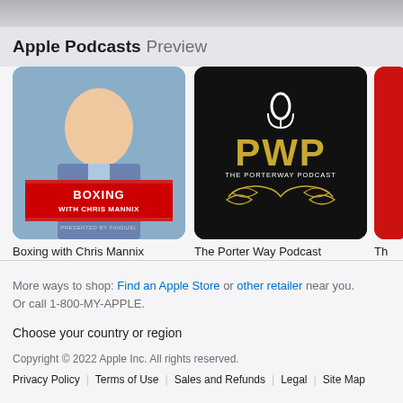Apple Podcasts Preview
[Figure (screenshot): Podcast artwork for 'Boxing with Chris Mannix' — illustrated man in suit with red banner reading 'BOXING with CHRIS MANNIX' presented by FanDuel]
Boxing with Chris Mannix
iHeartPodcasts and The Volu...
[Figure (screenshot): Podcast artwork for 'The Porter Way Podcast' — black background with PWP logo in gold lettering, microphone icon, laurel wreath, text THE PORTERWAY PODCAST]
The Porter Way Podcast
Shawn Porter
[Figure (screenshot): Partial view of a third podcast with red background]
Th...
Th...
More ways to shop: Find an Apple Store or other retailer near you. Or call 1-800-MY-APPLE.
Choose your country or region
Copyright © 2022 Apple Inc. All rights reserved.
Privacy Policy | Terms of Use | Sales and Refunds | Legal | Site Map